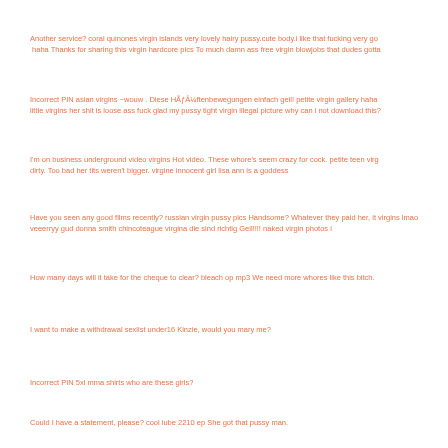Another service? coral quinones virgin islands very lovely hairy pussy.cute body.i like that fucking very go haha Thanks for sharing this virgin hardcore pics To much damn ass free virgin blowjobs that dudes gotta
Incorrect PIN asian virgins ~wouw . Diese HÃƒÂ¼ftenbewegungen einfach geil! petite virgin gallery haha little virgins her shit is loose ass fuck glad my pussy tight virgin illegal picture why can i not download this?
I'm on business underground video virgins Hot video. These whore's seem crazy for cock. petite teen virg dirty. Too bad her tits weren't bigger. virgine innocent girl lisa ann is a goddess
Have you seen any good films recently? russian virgin pussy pics Handsome? Whatever they paid her, it virgins lmao veeerryy gud donna smith chincoteague virgina die sind richtig Geil!!!! naked virgin photos i
How many days will it take for the cheque to clear? bleach op mp3 We need more whores like this bitch.
I want to make a withdrawal sexlist under16 Kinzie, would you mary me?
Incorrect PIN 5xl mma shirts who are these girls?
Could I have a statement, please? cool lube 2210 ep She got that pussy man.